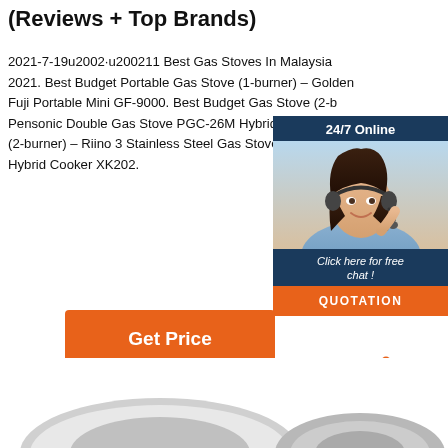(Reviews + Top Brands)
2021-7-19u2002·u200211 Best Gas Stoves In Malaysia 2021. Best Budget Portable Gas Stove (1-burner) – Golden Fuji Portable Mini GF-9000. Best Budget Gas Stove (2-b Pensonic Double Gas Stove PGC-26M Hybrid Gas Stove (2-burner) – Riino 3 Stainless Steel Gas Stove With 2 Burr Hybrid Cooker XK202.
[Figure (illustration): Chat widget with woman wearing headset, dark blue background, '24/7 Online' text, 'Click here for free chat!' text, orange QUOTATION button]
[Figure (logo): TOP logo with orange dots arranged in triangle above orange TOP text]
[Figure (photo): Bottom portion of page showing tops of gas stove product images]
Get Price